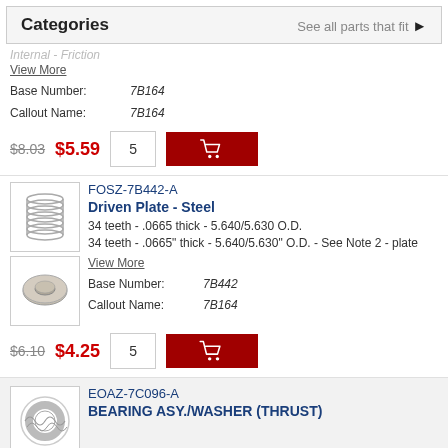Categories  See all parts that fit ▶
Internal - Friction
View More
Base Number: 7B164
Callout Name: 7B164
$8.03  $5.59  5
FOSZ-7B442-A
Driven Plate - Steel
34 teeth - .0665 thick - 5.640/5.630 O.D.
34 teeth - .0665" thick - 5.640/5.630" O.D. - See Note 2 - plate
View More
Base Number: 7B442
Callout Name: 7B164
$6.10  $4.25  5
EOAZ-7C096-A
BEARING ASY./WASHER (THRUST)